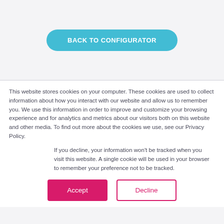[Figure (other): A teal/cyan rounded button labeled BACK TO CONFIGURATOR]
This website stores cookies on your computer. These cookies are used to collect information about how you interact with our website and allow us to remember you. We use this information in order to improve and customize your browsing experience and for analytics and metrics about our visitors both on this website and other media. To find out more about the cookies we use, see our Privacy Policy.
If you decline, your information won’t be tracked when you visit this website. A single cookie will be used in your browser to remember your preference not to be tracked.
[Figure (other): Two buttons side by side: a solid pink/magenta Accept button and an outlined Decline button]